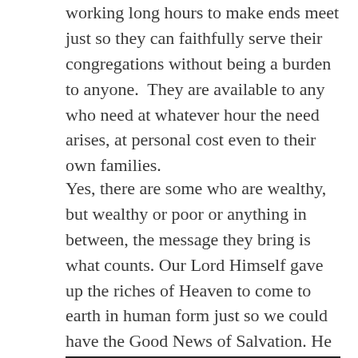working long hours to make ends meet just so they can faithfully serve their congregations without being a burden to anyone.  They are available to any who need at whatever hour the need arises, at personal cost even to their own families.
Yes, there are some who are wealthy, but wealthy or poor or anything in between, the message they bring is what counts. Our Lord Himself gave up the riches of Heaven to come to earth in human form just so we could have the Good News of Salvation. He taught sacrifice, it cost Him everything . So, money is hardly a motivator to get into Ministry.